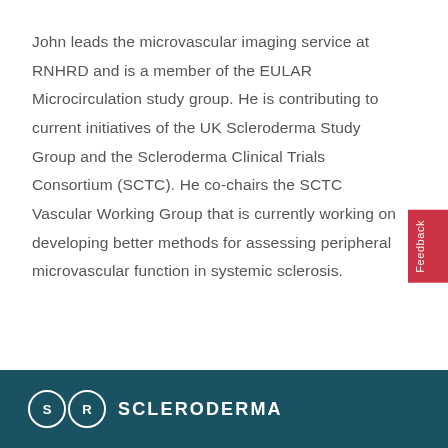John leads the microvascular imaging service at RNHRD and is a member of the EULAR Microcirculation study group. He is contributing to current initiatives of the UK Scleroderma Study Group and the Scleroderma Clinical Trials Consortium (SCTC). He co-chairs the SCTC Vascular Working Group that is currently working on developing better methods for assessing peripheral microvascular function in systemic sclerosis.
SR SCLERODERMA